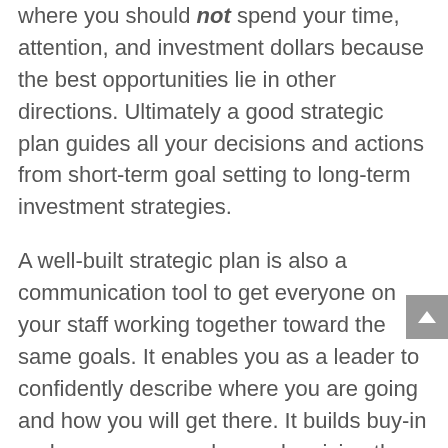where you should not spend your time, attention, and investment dollars because the best opportunities lie in other directions. Ultimately a good strategic plan guides all your decisions and actions from short-term goal setting to long-term investment strategies.
A well-built strategic plan is also a communication tool to get everyone on your staff working together toward the same goals. It enables you as a leader to confidently describe where you are going and how you will get there. It builds buy-in and empowers employees by giving them better clarity.
Building a solid strategic plan is hard work. It can feel it's taking too much time toward an